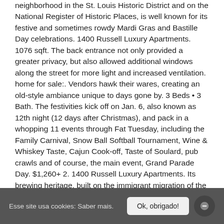neighborhood in the St. Louis Historic District and on the National Register of Historic Places, is well known for its festive and sometimes rowdy Mardi Gras and Bastille Day celebrations. 1400 Russell Luxury Apartments. 1076 sqft. The back entrance not only provided a greater privacy, but also allowed additional windows along the street for more light and increased ventilation. home for sale:. Vendors hawk their wares, creating an old-style ambiance unique to days gone by. 3 Beds • 3 Bath. The festivities kick off on Jan. 6, also known as 12th night (12 days after Christmas), and pack in a whopping 11 events through Fat Tuesday, including the Family Carnival, Snow Ball Softball Tournament, Wine & Whiskey Taste, Cajun Cook-off, Taste of Soulard, pub crawls and of course, the main event, Grand Parade Day. $1,260+ 2. 1400 Russell Luxury Apartments. Its brewing heritage, built on the immigrant migration of the 1800s, is on prominent display. Its mission is to support and improve the district for residents, businesses, and visitors. But a problem developed when they decided to sell part of the estate. With a clear property title in hand she began subdividing the property and selling off lots, thus becoming the first female real estate developer west of the Mississippi River (and maybe in America). Founded by German emigrants in 1839, Trinity is the oldest established
Esse site usa cookies: Saber mais. Ok, obrigado!